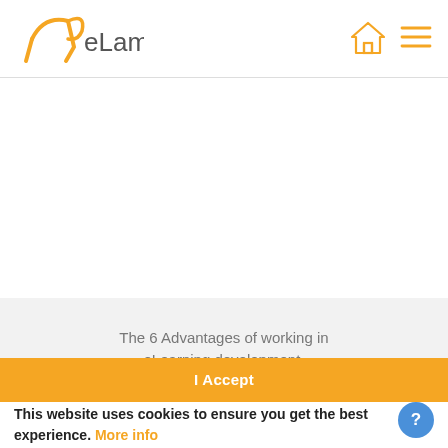[Figure (logo): eLamb logo with orange stylized lamb/arrow icon and dark gray 'eLamb' text]
[Figure (other): Orange house/home icon in navigation bar]
[Figure (other): Orange hamburger menu icon (three horizontal lines) in navigation bar]
The 6 Advantages of working in eLearning development.
I Accept
This website uses cookies to ensure you get the best experience. More info